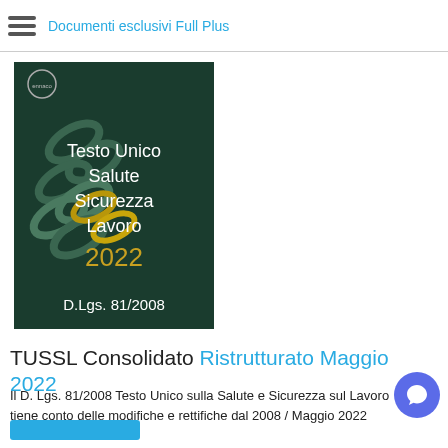Documenti esclusivi Full Plus
[Figure (illustration): Book cover for 'Testo Unico Salute Sicurezza Lavoro 2022 D.Lgs. 81/2008' with dark green background showing chains, published by Ennaco]
TUSSL Consolidato Ristrutturato Maggio 2022
Il D. Lgs. 81/2008 Testo Unico sulla Salute e Sicurezza sul La... tiene conto delle modifiche e rettifiche dal 2008 / Maggio 2022...